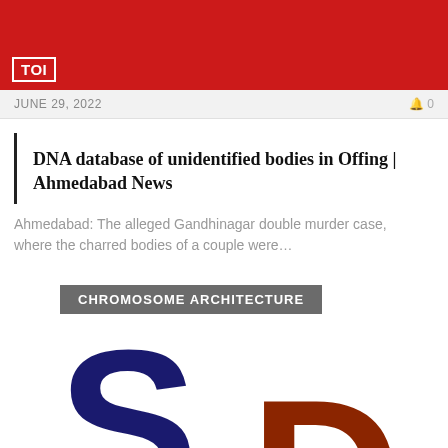[Figure (logo): Times of India (TOI) red banner logo at the top with TOI badge]
JUNE 29, 2022   0
DNA database of unidentified bodies in Offing | Ahmedabad News
Ahmedabad: The alleged Gandhinagar double murder case, where the charred bodies of a couple were…
CHROMOSOME ARCHITECTURE
[Figure (logo): Large letters S and D in dark blue and dark brown/red colors representing a logo, partially visible at bottom of page]